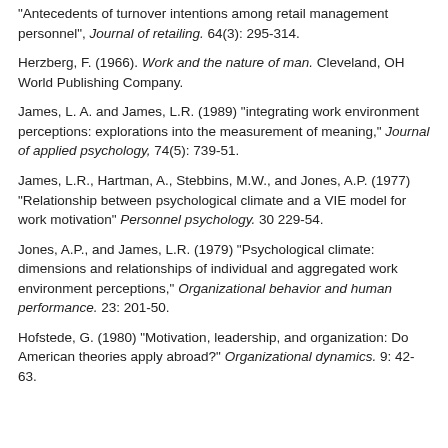“Antecedents of turnover intentions among retail management personnel”, Journal of retailing. 64(3): 295-314.
Herzberg, F. (1966). Work and the nature of man. Cleveland, OH World Publishing Company.
James, L. A. and James, L.R. (1989) “integrating work environment perceptions: explorations into the measurement of meaning,” Journal of applied psychology, 74(5): 739-51.
James, L.R., Hartman, A., Stebbins, M.W., and Jones, A.P. (1977) “Relationship between psychological climate and a VIE model for work motivation” Personnel psychology. 30 229-54.
Jones, A.P., and James, L.R. (1979) “Psychological climate: dimensions and relationships of individual and aggregated work environment perceptions,” Organizational behavior and human performance. 23: 201-50.
Hofstede, G. (1980) “Motivation, leadership, and organization: Do American theories apply abroad?” Organizational dynamics. 9: 42-63.